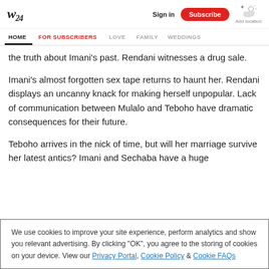W24 | Sign in | Subscribe | Add location
HOME | FOR SUBSCRIBERS | LOVE | FAMILY | WEDDINGS
the truth about Imani's past. Rendani witnesses a drug sale.
Imani's almost forgotten sex tape returns to haunt her. Rendani displays an uncanny knack for making herself unpopular. Lack of communication between Mulalo and Teboho have dramatic consequences for their future.
Teboho arrives in the nick of time, but will her marriage survive her latest antics? Imani and Sechaba have a huge
We use cookies to improve your site experience, perform analytics and show you relevant advertising. By clicking "OK", you agree to the storing of cookies on your device. View our Privacy Portal, Cookie Policy & Cookie FAQs